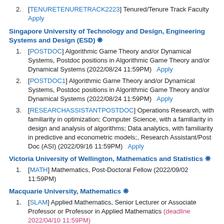2. [TENURETENURETRACK2223] Tenured/Tenure Track Faculty Apply
Singapore University of Technology and Design, Engineering Systems and Design (ESD) #
1. [POSTDOC] Algorithmic Game Theory and/or Dynamical Systems, Postdoc positions in Algorithmic Game Theory and/or Dynamical Systems (2022/08/24 11:59PM) Apply
2. [POSTDOC1] Algorithmic Game Theory and/or Dynamical Systems, Postdoc positions in Algorithmic Game Theory and/or Dynamical Systems (2022/08/24 11:59PM) Apply
3. [RESEARCHASSISTANTPOSTDOC] Operations Research, with familiarity in optimization; Computer Science, with a familiarity in design and analysis of algorithms; Data analytics, with familiarity in predictive and econometric models;, Research Assistant/Post Doc (ASI) (2022/09/16 11:59PM) Apply
Victoria University of Wellington, Mathematics and Statistics #
1. [MATH] Mathematics, Post-Doctoral Fellow (2022/09/02 11:59PM)
Macquarie University, Mathematics #
1. [SLAM] Applied Mathematics, Senior Lecturer or Associate Professor or Professor in Applied Mathematics (deadline 2022/04/10 11:59PM)
University of Sydney #